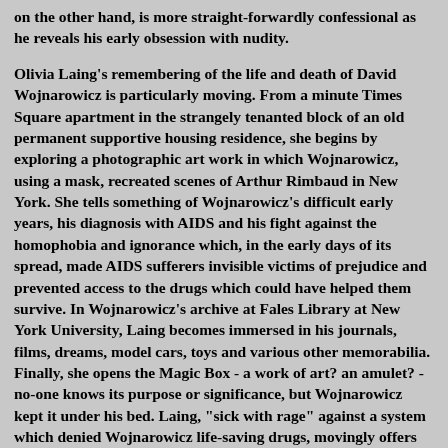on the other hand, is more straight-forwardly confessional as he reveals his early obsession with nudity.
Olivia Laing's remembering of the life and death of David Wojnarowicz is particularly moving. From a minute Times Square apartment in the strangely tenanted block of an old permanent supportive housing residence, she begins by exploring a photographic art work in which Wojnarowicz, using a mask, recreated scenes of Arthur Rimbaud in New York. She tells something of Wojnarowicz's difficult early years, his diagnosis with AIDS and his fight against the homophobia and ignorance which, in the early days of its spread, made AIDS sufferers invisible victims of prejudice and prevented access to the drugs which could have helped them survive. In Wojnarowicz's archive at Fales Library at New York University, Laing becomes immersed in his journals, films, dreams, model cars, toys and various other memorabilia. Finally, she opens the Magic Box - a work of art? an amulet? - no-one knows its purpose or significance, but Wojnarowicz kept it under his bed. Laing, "sick with rage" against a system which denied Wojnarowicz life-saving drugs, movingly offers us the contents of David Wojnarowicz's Magic Box as "a spell against silence, a prophylactic to repel prejudice".
Another art-centred piece in this issue of Granta begins with a